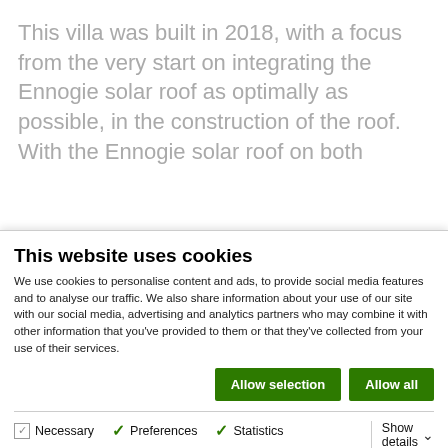This villa was built in 2018, with a focus from the very start on integrating the Ennogie solar roof as optimally as possible, in the construction of the roof. With the Ennogie solar roof on both
This website uses cookies
We use cookies to personalise content and ads, to provide social media features and to analyse our traffic. We also share information about your use of our site with our social media, advertising and analytics partners who may combine it with other information that you've provided to them or that they've collected from your use of their services.
Allow selection | Allow all
Necessary  Preferences  Statistics  Marketing  Show details